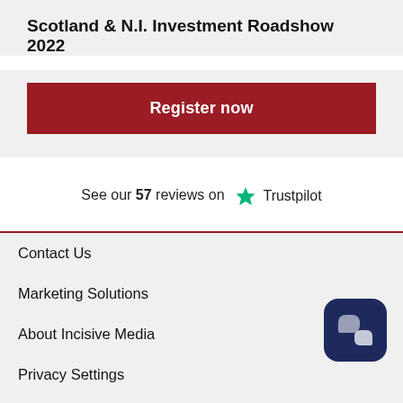Scotland & N.I. Investment Roadshow 2022
Register now
See our 57 reviews on Trustpilot
Contact Us
Marketing Solutions
About Incisive Media
Privacy Settings
Terms & Conditions